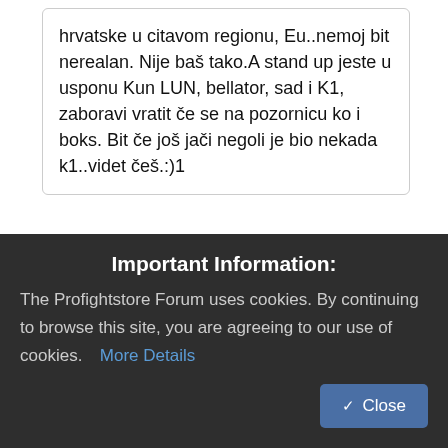hrvatske u citavom regionu, Eu..nemoj bit nerealan. Nije baš tako.A stand up jeste u usponu Kun LUN, bellator, sad i K1, zaboravi vratit če se na pozornicu ko i boks. Bit če još jači negoli je bio nekada k1..videt češ.:)1
Pa dobro neznaju, ali oni nisu ni postigli takav rezultat u svom sportu, da je Delija dosao u Ufc i dogurao do
Important Information:
The Profightstore Forum uses cookies. By continuing to browse this site, you are agreeing to our use of cookies.